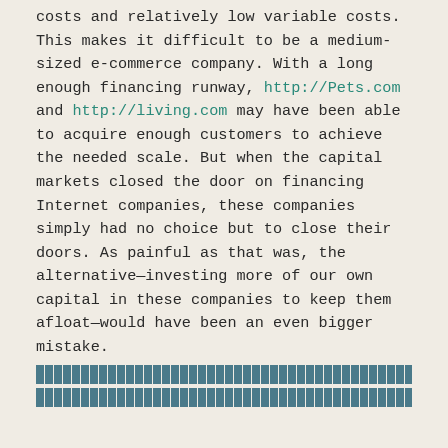costs and relatively low variable costs. This makes it difficult to be a medium-sized e-commerce company. With a long enough financing runway, http://Pets.com and http://living.com may have been able to acquire enough customers to achieve the needed scale. But when the capital markets closed the door on financing Internet companies, these companies simply had no choice but to close their doors. As painful as that was, the alternative—investing more of our own capital in these companies to keep them afloat—would have been an even bigger mistake.
[redacted lines]